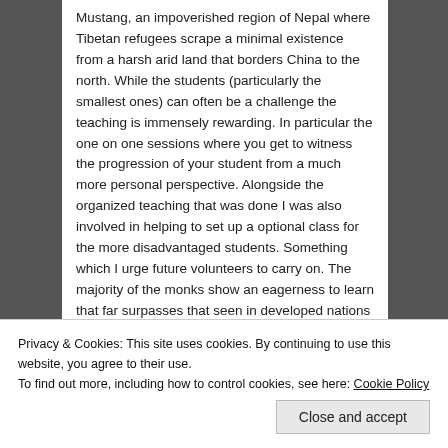Mustang, an impoverished region of Nepal where Tibetan refugees scrape a minimal existence from a harsh arid land that borders China to the north. While the students (particularly the smallest ones) can often be a challenge the teaching is immensely rewarding. In particular the one on one sessions where you get to witness the progression of your student from a much more personal perspective. Alongside the organized teaching that was done I was also involved in helping to set up a optional class for the more disadvantaged students. Something which I urge future volunteers to carry on. The majority of the monks show an eagerness to learn that far surpasses that seen in developed nations and they delight in talking about their homeland (although it is a given that you must also
Privacy & Cookies: This site uses cookies. By continuing to use this website, you agree to their use.
To find out more, including how to control cookies, see here: Cookie Policy
Close and accept